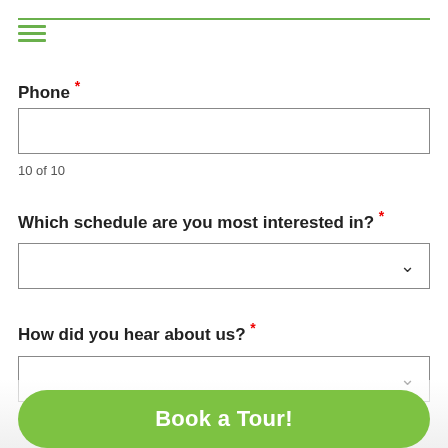Phone *
10 of 10
Which schedule are you most interested in? *
How did you hear about us? *
Referrer Name:
Book a Tour!